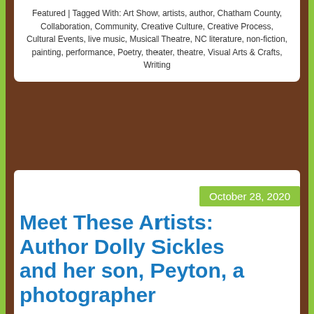Featured | Tagged With: Art Show, artists, author, Chatham County, Collaboration, Community, Creative Culture, Creative Process, Cultural Events, live music, Musical Theatre, NC literature, non-fiction, painting, performance, Poetry, theater, theatre, Visual Arts & Crafts, Writing
October 28, 2020
Meet These Artists: Author Dolly Sickles and her son, Peyton, a photographer
[Figure (photo): Two people outdoors with green trees in background. On the left, a person in a white hoodie and light blue cap raises a camera to their face to take a photo. On the right, a person in black stands near a red vehicle with a black canopy.]